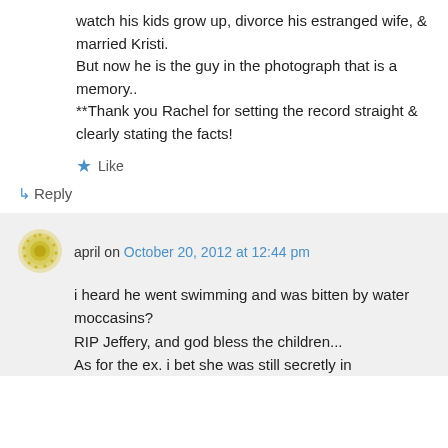watch his kids grow up, divorce his estranged wife, & married Kristi.
But now he is the guy in the photograph that is a memory..
**Thank you Rachel for setting the record straight & clearly stating the facts!
★ Like
↳ Reply
april on October 20, 2012 at 12:44 pm
i heard he went swimming and was bitten by water moccasins?
RIP Jeffery, and god bless the children...
As for the ex. i bet she was still secretly in